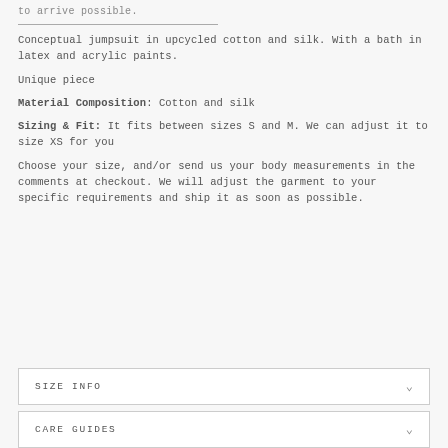to arrive possible.
Conceptual jumpsuit in upcycled cotton and silk. With a bath in latex and acrylic paints.
Unique piece
Material Composition: Cotton and silk
Sizing & Fit: It fits between sizes S and M. We can adjust it to size XS for you
Choose your size, and/or send us your body measurements in the comments at checkout. We will adjust the garment to your specific requirements and ship it as soon as possible.
SIZE INFO
CARE GUIDES